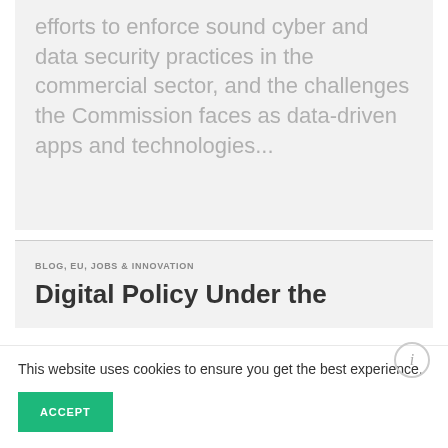efforts to enforce sound cyber and data security practices in the commercial sector, and the challenges the Commission faces as data-driven apps and technologies...
BLOG, EU, JOBS & INNOVATION
Digital Policy Under the
This website uses cookies to ensure you get the best experience.
ACCEPT